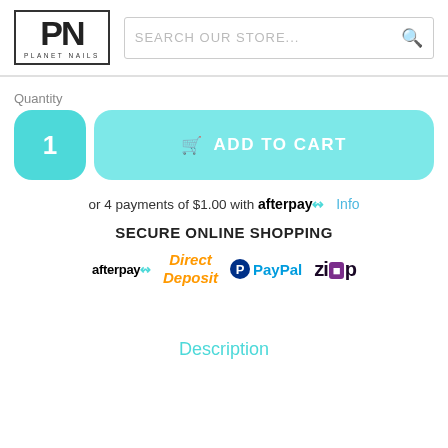[Figure (logo): Planet Nails logo with PN in bold black text inside a bordered box, with 'PLANET NAILS' text below]
SEARCH OUR STORE...
Quantity
1
ADD TO CART
or 4 payments of $1.00 with afterpay Info
SECURE ONLINE SHOPPING
[Figure (logo): Payment method logos: afterpay, Direct Deposit (orange italic), PayPal (blue), Zip (dark purple with purple square)]
Description